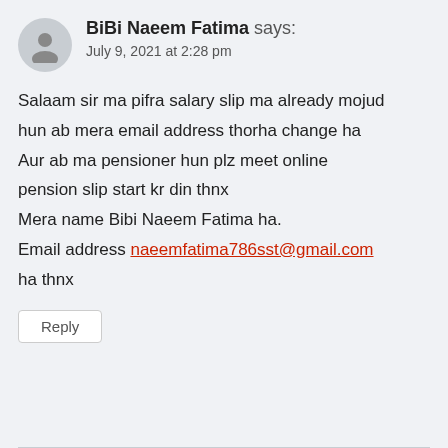[Figure (illustration): Grey circular avatar icon showing a generic user silhouette]
BiBi Naeem Fatima says:
July 9, 2021 at 2:28 pm
Salaam sir ma pifra salary slip ma already mojud hun ab mera email address thorha change ha Aur ab ma pensioner hun plz meet online pension slip start kr din thnx Mera name Bibi Naeem Fatima ha. Email address naeemfatima786sst@gmail.com ha thnx
Reply